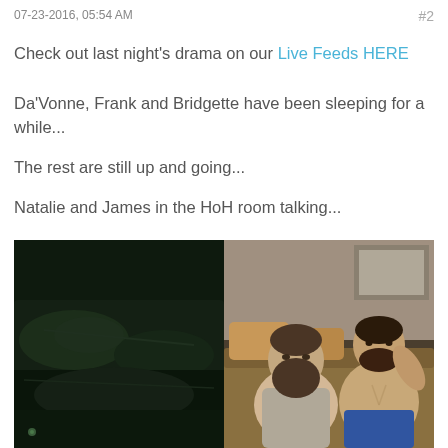07-23-2016, 05:54 AM
#2
Check out last night's drama on our Live Feeds HERE
Da'Vonne, Frank and Bridgette have been sleeping for a while...
The rest are still up and going...
Natalie and James in the HoH room talking...
Crazy "one time when I took a girl out" stories are going on downstairs...
[Figure (photo): Two side-by-side images: left shows a dark night-vision bedroom scene with people sleeping; right shows two men sitting on a couch, one bearded wearing a grey shirt, the other shirtless.]